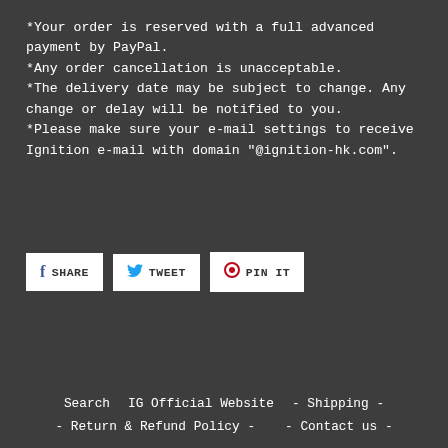*Your order is reserved with a full advanced payment by PayPal.
*Any order cancellation is unacceptable.
*The delivery date may be subject to change. Any change or delay will be notified to you.
*Please make sure your e-mail settings to receive Ignition e-mail with domain "@ignition-hk.com".
[Figure (other): Social sharing buttons: SHARE (Facebook), TWEET (Twitter), PIN IT (Pinterest)]
Search    IG Official Website    - Shipping -    - Return & Refund Policy -    - Contact us -